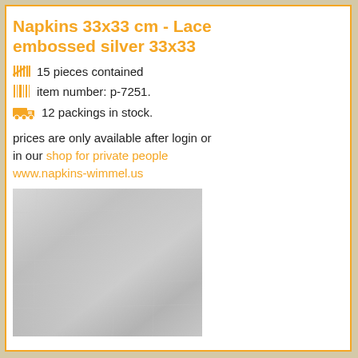Napkins 33x33 cm - Lace embossed silver 33x33
15 pieces contained
item number: p-7251.
12 packings in stock.
prices are only available after login or in our shop for private people www.napkins-wimmel.us
[Figure (photo): Silver lace embossed napkin texture, showing a shimmery silver fabric/paper with subtle lace pattern]